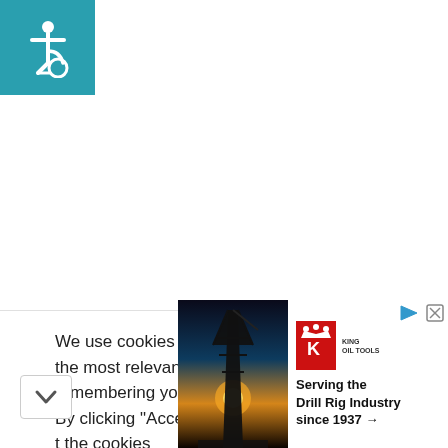[Figure (logo): Accessibility wheelchair icon on teal/blue background]
We use cookies on our website to give you the most relevant experience by remembering your preferences and at visits. By clicking “Accept”, you consent to the use the cookies
[Figure (infographic): King Oil Tools advertisement banner: photo of drill rig at sunset on left, text 'Serving the Drill Rig Industry since 1937 →' on white background on right, with King Oil Tools red logo]